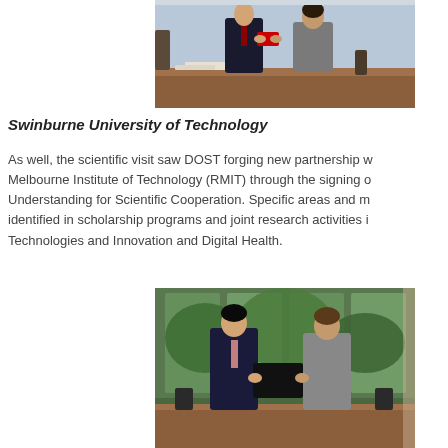[Figure (photo): Two people standing at a conference table exchanging a red document or gift. Indoor setting with chairs and papers on the table.]
Swinburne University of Technology
As well, the scientific visit saw DOST forging new partnership with Royal Melbourne Institute of Technology (RMIT) through the signing of a Memorandum of Understanding for Scientific Cooperation. Specific areas and modalities were identified in scholarship programs and joint research activities in Emerging Technologies and Innovation and Digital Health.
[Figure (photo): Two people standing at a conference table holding a folder or document, smiling. Large windows with trees visible in the background. Indoor formal setting.]